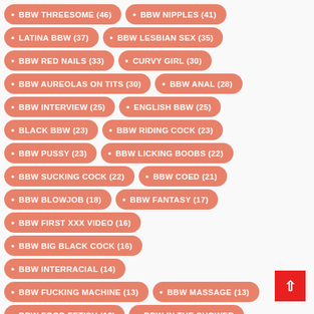BBW THREESOME (46)
BBW NIPPLES (41)
LATINA BBW (37)
BBW LESBIAN SEX (35)
BBW RED NAILS (33)
CURVY GIRL (30)
BBW AUREOLAS ON TITS (30)
BBW ANAL (28)
BBW INTERVIEW (25)
ENGLISH BBW (25)
BLACK BBW (23)
BBW RIDING COCK (23)
BBW PUSSY (23)
BBW LICKING BOOBS (22)
BBW SUCKING COCK (22)
BBW COED (21)
BBW BLOWJOB (18)
BBW FANTASY (17)
BBW FIRST XXX VIDEO (16)
BBW BIG BLACK COCK (16)
BBW INTERRACIAL (14)
BBW FUCKING MACHINE (13)
BBW MASSAGE (13)
BBW FOOD FETISH (13)
BBW IN THE SHOWER
BBW IN BIKINI (10)
BBW TITS PINCHING (10)